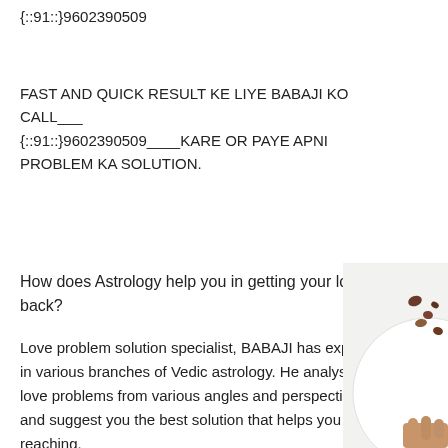{::91::}9602390509
FAST AND QUICK RESULT KE LIYE BABAJI KO CALL___  {::91::}9602390509____KARE OR PAYE APNI PROBLEM KA SOLUTION.
How does Astrology help you in getting your love back?
Love problem solution specialist, BABAJI has expertise in various branches of Vedic astrology. He analyses love problems from various angles and perspectives and suggest you the best solution that helps you reaching.
[Figure (photo): Partial photo of a white plate with nuts/seeds and a hand visible at the bottom right corner of the page]